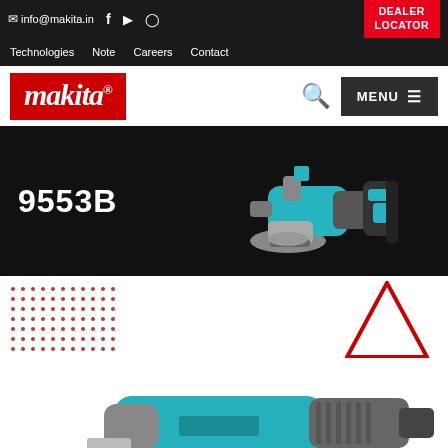✉ info@makita.in  f  ▶  🔘
Technologies  Note  Careers  Contact  DEALER LOCATOR
[Figure (logo): Makita logo in red background with white italic text]
9553B
[Figure (photo): Makita 9553B angle grinder product hero image on black background]
[Figure (illustration): Red dot pattern grid decoration and red triangle arrow decoration]
[Figure (photo): Makita 9553B angle grinder product photo showing teal and grey body on white background]